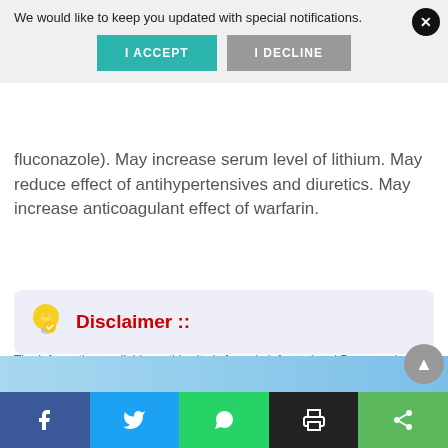[Figure (screenshot): Notification popup with 'We would like to keep you updated with special notifications.' text, I ACCEPT (teal) and I DECLINE (grey) buttons, and an X close button]
fluconazole). May increase serum level of lithium. May reduce effect of antihypertensives and diuretics. May increase anticoagulant effect of warfarin.
Disclaimer ::
The Information available on this site is for only Informational Purpose , before any use of this information please consult your Doctor .Price of the drugs indicated above may not match to real price due to many possible reasons may , including local taxes etc.. These are only approximate indicative prices of the drug.
[Figure (screenshot): Social sharing bar with Facebook, Twitter, WhatsApp, Print, and Share icons at the bottom of the page]